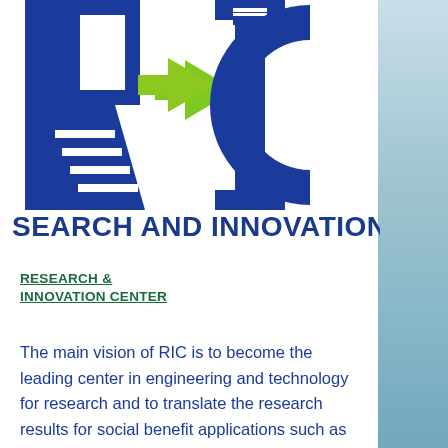[Figure (logo): Large blue RIC logo letters with green arrow on R and horizontal blue lines, partially cropped — showing large blue block letters R, I, C on white background]
SEARCH AND INNOVATION CEN
RESEARCH &
INNOVATION CENTER
The main vision of RIC is to become the leading center in engineering and technology for research and to translate the research results for social benefit applications such as commercialization or policy development.